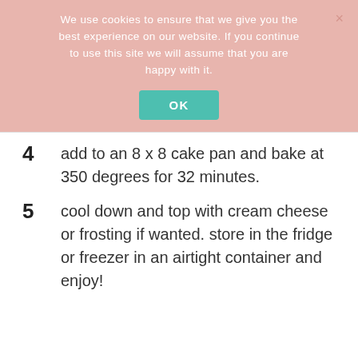We use cookies to ensure that we give you the best experience on our website. If you continue to use this site we will assume that you are happy with it.
4   add to an 8 x 8 cake pan and bake at 350 degrees for 32 minutes.
5   cool down and top with cream cheese or frosting if wanted. store in the fridge or freezer in an airtight container and enjoy!